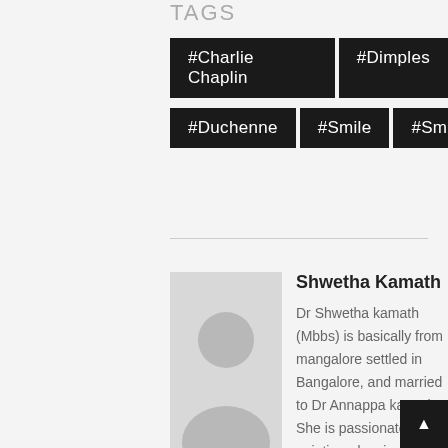TAGS
#Charlie Chaplin
#Dimples
#Duchenne
#Smile
#Smilies
[Figure (photo): Author avatar placeholder image with grey silhouette of a person]
Shwetha Kamath
Dr Shwetha kamath (Mbbs) is basically from mangalore settled in Bangalore, and married to Dr Annappa kamath. She is passionate about painting, dancing, poetry and photography. She